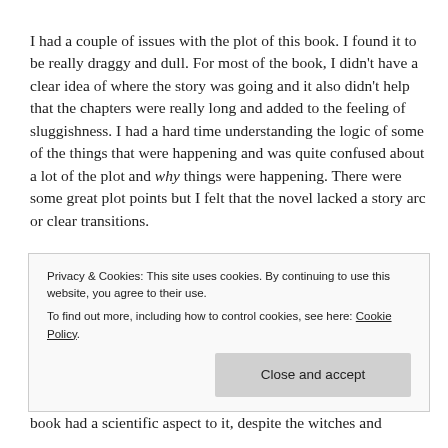I had a couple of issues with the plot of this book. I found it to be really draggy and dull. For most of the book, I didn't have a clear idea of where the story was going and it also didn't help that the chapters were really long and added to the feeling of sluggishness. I had a hard time understanding the logic of some of the things that were happening and was quite confused about a lot of the plot and why things were happening. There were some great plot points but I felt that the novel lacked a story arc or clear transitions.
Privacy & Cookies: This site uses cookies. By continuing to use this website, you agree to their use.
To find out more, including how to control cookies, see here: Cookie Policy
book had a scientific aspect to it, despite the witches and